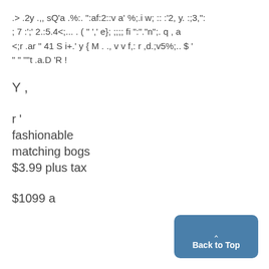.> .2y .,, sQ'a .%:. ":af:2::v a' %;.i w; :: :'2, y. :;3,": ; 7 :';' 2.:5.4&lt;... . ( " ',' e}; ;;; fi ":'."n";. q , a &lt;r .ar " 41 S i+.' y { M . ., v v f,: r ,d.;v5%;.. $ ' " " ""t .a.D 'R !
Y ,
r '
fashionable
matching bogs
$3.99 plus tax
$1099 a